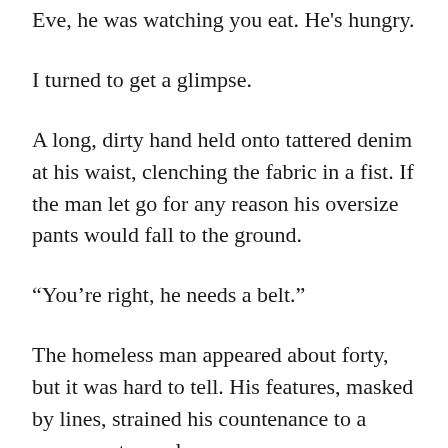Eve, he was watching you eat. He's hungry.
I turned to get a glimpse.
A long, dirty hand held onto tattered denim at his waist, clenching the fabric in a fist. If the man let go for any reason his oversize pants would fall to the ground.
“You’re right, he needs a belt.”
The homeless man appeared about forty, but it was hard to tell. His features, masked by lines, strained his countenance to a permanent scowl.